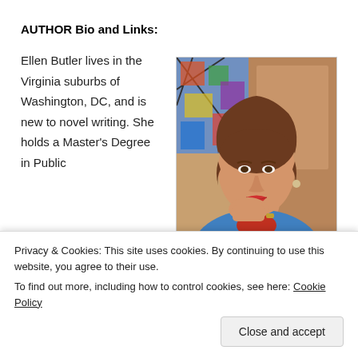AUTHOR Bio and Links:
Ellen Butler lives in the Virginia suburbs of Washington, DC, and is new to novel writing. She holds a Master's Degree in Public
[Figure (photo): Author photo: a woman with brown hair wearing a blue shirt and red scarf, resting her chin on her hand, with stained glass in the background]
Privacy & Cookies: This site uses cookies. By continuing to use this website, you agree to their use.
To find out more, including how to control cookies, see here: Cookie Policy
Close and accept